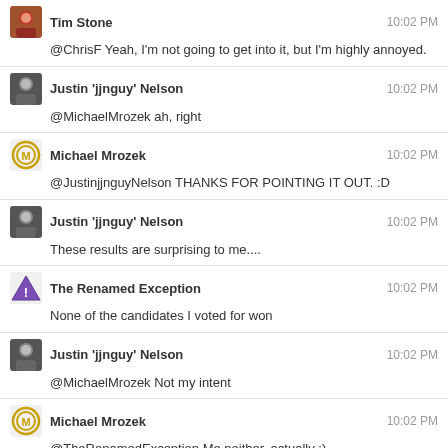Tim Stone — 10:02 PM — @ChrisF Yeah, I'm not going to get into it, but I'm highly annoyed.
Justin 'jjnguy' Nelson — 10:02 PM — @MichaelMrozek ah, right
Michael Mrozek — 10:02 PM — @JustinjjnguyNelson THANKS FOR POINTING IT OUT. :D
Justin 'jjnguy' Nelson — 10:02 PM — These results are surprising to me....
The Renamed Exception — 10:02 PM — None of the candidates I voted for won
Justin 'jjnguy' Nelson — 10:02 PM — @MichaelMrozek Not my intent
Michael Mrozek — 10:02 PM — @TheRenamedException Me neither, actually :)
Justin 'jjnguy' Nelson — 10:02 PM — @TheRenamedException Same
Michael Mrozek — 10:02 PM — Worst vote ring ever